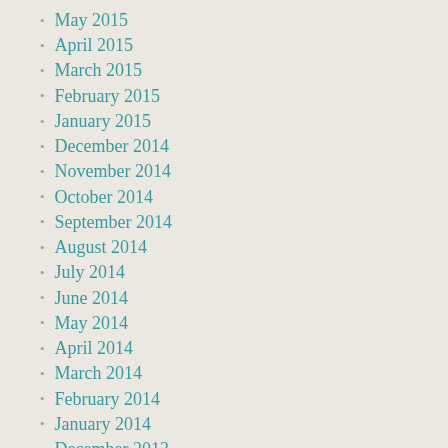May 2015
April 2015
March 2015
February 2015
January 2015
December 2014
November 2014
October 2014
September 2014
August 2014
July 2014
June 2014
May 2014
April 2014
March 2014
February 2014
January 2014
December 2013
November 2013
October 2013
September 2013